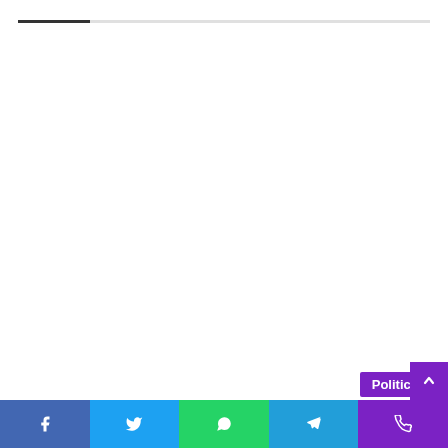E/R : Yilo Krobo MP attack Adolf Nomo-Development Activist On Education Comment
May 9, 2021
Social share bar: Facebook, Twitter, WhatsApp, Telegram, Viber